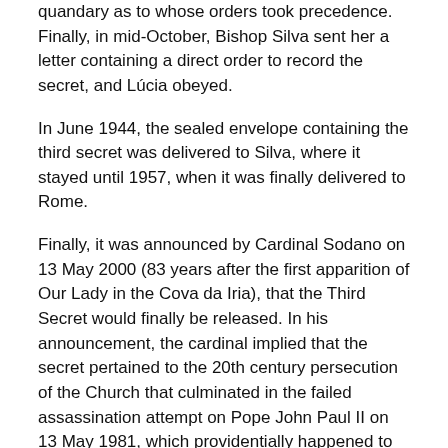quandary as to whose orders took precedence. Finally, in mid-October, Bishop Silva sent her a letter containing a direct order to record the secret, and Lúcia obeyed.
In June 1944, the sealed envelope containing the third secret was delivered to Silva, where it stayed until 1957, when it was finally delivered to Rome.
Finally, it was announced by Cardinal Sodano on 13 May 2000 (83 years after the first apparition of Our Lady in the Cova da Iria), that the Third Secret would finally be released. In his announcement, the cardinal implied that the secret pertained to the 20th century persecution of the Church that culminated in the failed assassination attempt on Pope John Paul II on 13 May 1981, which providentially happened to be the 64th anniversary of the first apparition of the Lady at Fatima.
II Confirmation of the Unknown Light: